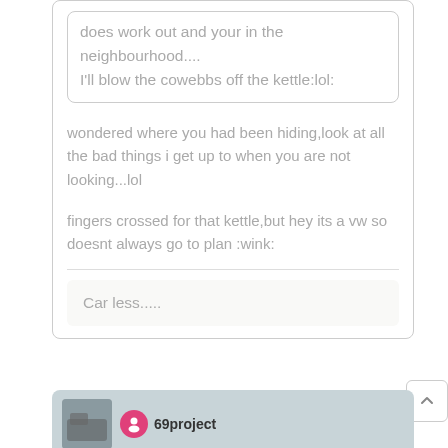does work out and your in the neighbourhood....
I'll blow the cowebbs off the kettle:lol:
wondered where you had been hiding,look at all the bad things i get up to when you are not looking...lol
fingers crossed for that kettle,but hey its a vw so doesnt always go to plan :wink:
Car less.....
69project